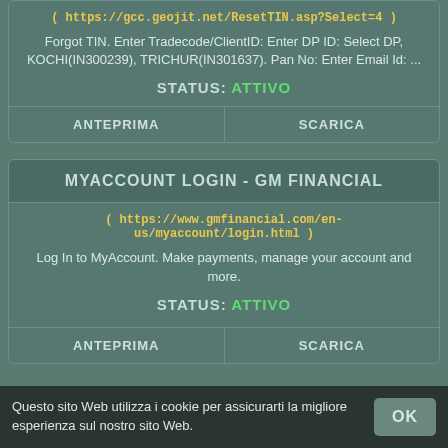( https://gcc.geojit.net/ResetTIN.asp?Select=4 )
Forgot TIN. Enter Tradecode/ClientID: Enter DP ID: Select DP, KOCHI(IN300239), TRICHUR(IN301637). Pan No: Enter Email Id: ...
STATUS: ATTIVO
ANTEPRIMA
SCARICA
MYACCOUNT LOGIN - GM FINANCIAL
( https://www.gmfinancial.com/en-us/myaccount/login.html )
Log In to MyAccount. Make payments, manage your account and more.
STATUS: ATTIVO
ANTEPRIMA
SCARICA
Questo sito Web utilizza i cookie per assicurarti la migliore esperienza sul nostro sito Web.
OK